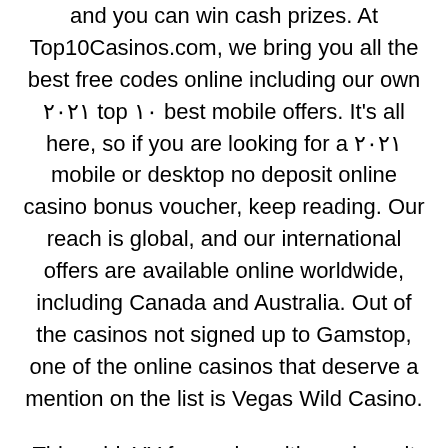and you can win cash prizes. At Top10Casinos.com, we bring you all the best free codes online including our own 2021 top 10 best mobile offers. It's all here, so if you are looking for a 2021 mobile or desktop no deposit online casino bonus voucher, keep reading. Our reach is global, and our international offers are available online worldwide, including Canada and Australia. Out of the casinos not signed up to Gamstop, one of the online casinos that deserve a mention on the list is Vegas Wild Casino.
This said, YY free spins with no deposit required for UK players (and more!) is still a very good offer and we informative post think you should